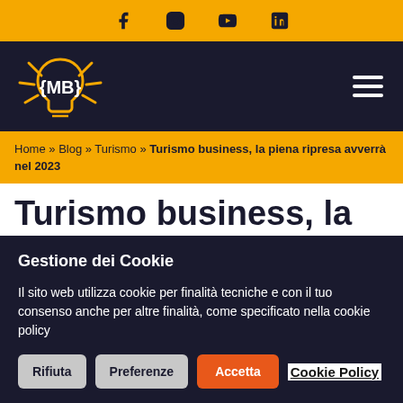Social icons: Facebook, Instagram, YouTube, LinkedIn
[Figure (logo): MB logo in a lightbulb shape with yellow and white colors on dark background, plus hamburger menu icon]
Home » Blog » Turismo » Turismo business, la piena ripresa avverrà nel 2023
Turismo business, la piena ripresa avverrà nel
Gestione dei Cookie
Il sito web utilizza cookie per finalità tecniche e con il tuo consenso anche per altre finalità, come specificato nella cookie policy
Rifiuta   Preferenze   Accetta   Cookie Policy